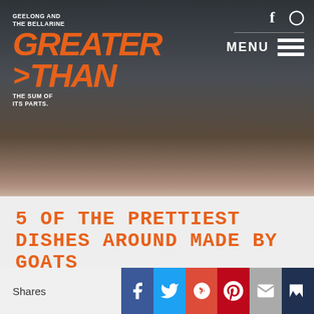[Figure (screenshot): Website header with dark background, food photo, Greater Than logo (orange), social icons (Facebook, Instagram), and MENU hamburger button]
5 OF THE PRETTIEST DISHES AROUND MADE BY GOATS
The Bellarine has an amazing producer of goat cheese. Situated in Drysdale, this small farm is loved by many a chef, and you can see why when they can put together...
8 MARCH 2016
[Figure (infographic): Social share bar with Shares label, Facebook, Twitter, Google+, Pinterest, Email, and bookmark buttons]